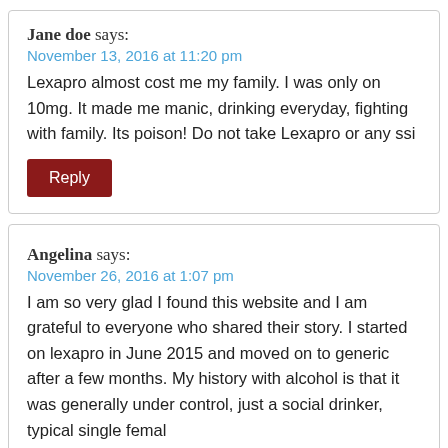Jane doe says:
November 13, 2016 at 11:20 pm
Lexapro almost cost me my family. I was only on 10mg. It made me manic, drinking everyday, fighting with family. Its poison! Do not take Lexapro or any ssi
Reply
Angelina says:
November 26, 2016 at 1:07 pm
I am so very glad I found this website and I am grateful to everyone who shared their story. I started on lexapro in June 2015 and moved on to generic after a few months. My history with alcohol is that it was generally under control, just a social drinker, typical single femal